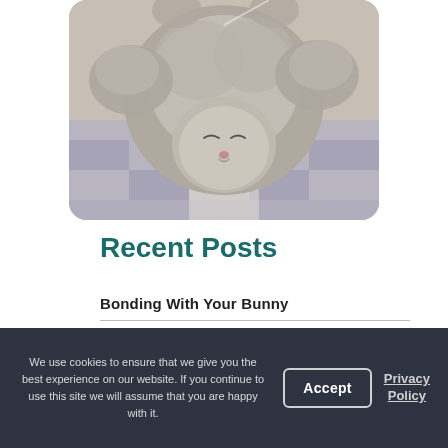[Figure (photo): A grey fluffy cat lying on its back on a checkered blanket, photographed from above. The cat appears to be a British Shorthair with soft grey fur, visible belly, and a relaxed sleeping pose.]
Recent Posts
Bonding With Your Bunny
Yorkie Day
Arthritis In Cats
We use cookies to ensure that we give you the best experience on our website. If you continue to use this site we will assume that you are happy with it. Accept | Privacy Policy